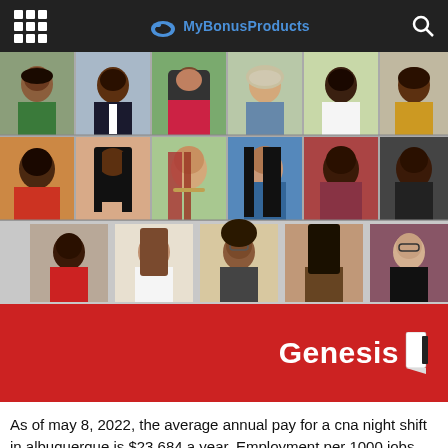MyBonusProducts
[Figure (photo): Collage of 17 professional headshot photos of diverse individuals arranged in 3 rows]
[Figure (logo): Genesis company logo in white text on red background with flag icon]
As of may 8, 2022, the average annual pay for a cna night shift in albuquerque is $23,684 a year. Employment per 1000 jobs was 7.23.